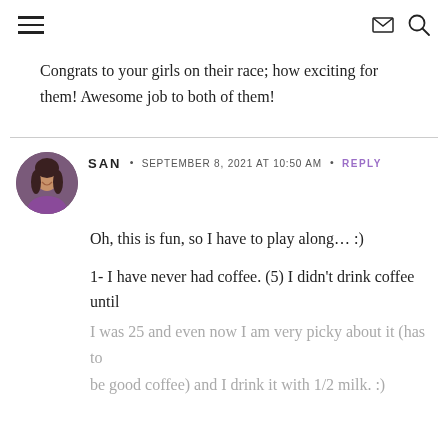≡  ✉ 🔍
Congrats to your girls on their race; how exciting for them! Awesome job to both of them!
SAN · SEPTEMBER 8, 2021 AT 10:50 AM · REPLY
Oh, this is fun, so I have to play along… :)
1- I have never had coffee. (5) I didn't drink coffee until I was 25 and even now I am very picky about it (has to be good coffee) and I drink it with 1/2 milk. :)